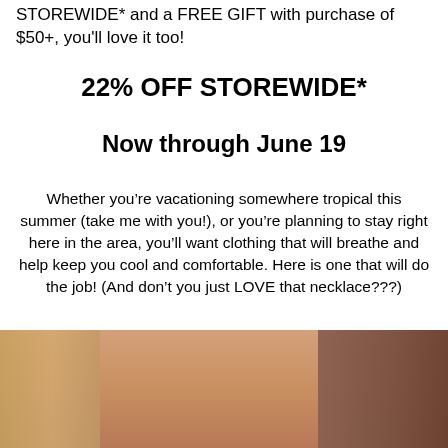STOREWIDE* and a FREE GIFT with purchase of $50+, you'll love it too!
22% OFF STOREWIDE*
Now through June 19
Whether you’re vacationing somewhere tropical this summer (take me with you!), or you’re planning to stay right here in the area, you’ll want clothing that will breathe and help keep you cool and comfortable. Here is one that will do the job! (And don’t you just LOVE that necklace???)
[Figure (photo): Photo of two women, cropped showing faces/hair/neck area, one with blonde hair on left and one with darker hair on right]